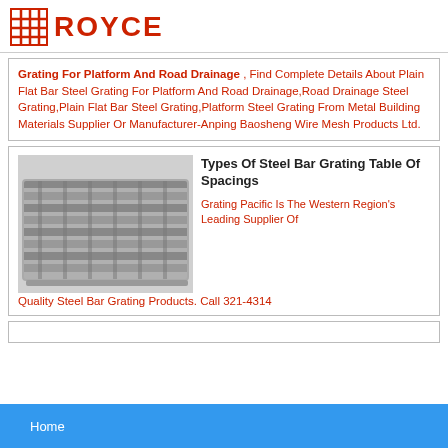[Figure (logo): Royce logo with red grid icon and red text ROYCE]
Grating For Platform And Road Drainage , Find Complete Details About Plain Flat Bar Steel Grating For Platform And Road Drainage,Road Drainage Steel Grating,Plain Flat Bar Steel Grating,Platform Steel Grating From Metal Building Materials Supplier Or Manufacturer-Anping Baosheng Wire Mesh Products Ltd.
[Figure (photo): Photo of steel bar grating panel, metallic grid with parallel bars]
Types Of Steel Bar Grating Table Of Spacings
Grating Pacific Is The Western Region's Leading Supplier Of Quality Steel Bar Grating Products. Call 321-4314
Home